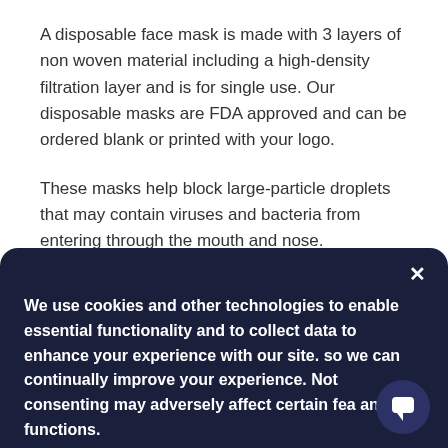A disposable face mask is made with 3 layers of non woven material including a high-density filtration layer and is for single use. Our disposable masks are FDA approved and can be ordered blank or printed with your logo.
These masks help block large-particle droplets that may contain viruses and bacteria from entering through the mouth and nose.
We use cookies and other technologies to enable essential functionality and to collect data to enhance your experience with our site. so we can continually improve your experience. Not consenting may adversely affect certain fea and functions.